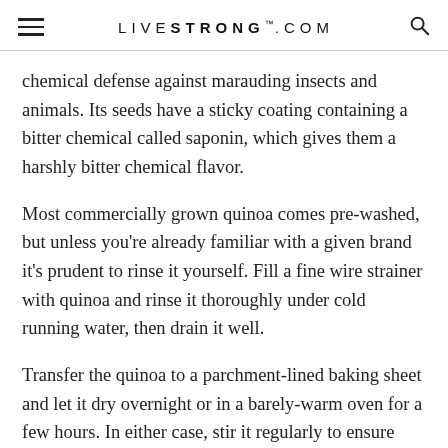LIVESTRONG.COM
chemical defense against marauding insects and animals. Its seeds have a sticky coating containing a bitter chemical called saponin, which gives them a harshly bitter chemical flavor.
Most commercially grown quinoa comes pre-washed, but unless you're already familiar with a given brand it's prudent to rinse it yourself. Fill a fine wire strainer with quinoa and rinse it thoroughly under cold running water, then drain it well.
Transfer the quinoa to a parchment-lined baking sheet and let it dry overnight or in a barely-warm oven for a few hours. In either case, stir it regularly to ensure